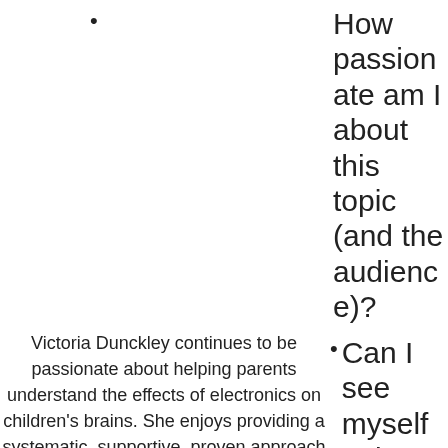•
How passionate am I about this topic (and the audience)?
Victoria Dunckley continues to be passionate about helping parents understand the effects of electronics on children's brains. She enjoys providing a systematic, supportive, proven approach to addressing it. Good thing, since she is
• Can I see myself enjoy